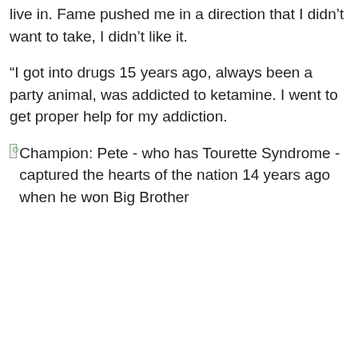live in. Fame pushed me in a direction that I didn't want to take, I didn't like it.
“I got into drugs 15 years ago, always been a party animal, was addicted to ketamine. I went to get proper help for my addiction.
[Figure (photo): Broken image placeholder with alt text: Champion: Pete - who has Tourette Syndrome - captured the hearts of the nation 14 years ago when he won Big Brother]